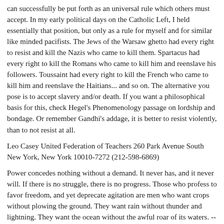can successfully be put forth as an universal rule which others must accept. In my early political days on the Catholic Left, I held essentially that position, but only as a rule for myself and for similar like minded pacifists. The Jews of the Warsaw ghetto had every right to resist and kill the Nazis who came to kill them. Spartacus had every right to kill the Romans who came to kill him and reenslave his followers. Toussaint had every right to kill the French who came to kill him and reenslave the Haitians... and so on. The alternative you pose is to accept slavery and/or death. If you want a philosophical basis for this, check Hegel's Phenomenology passage on lordship and bondage. Or remember Gandhi's addage, it is better to resist violently, than to not resist at all.
Leo Casey United Federation of Teachers 260 Park Avenue South New York, New York 10010-7272 (212-598-6869)
Power concedes nothing without a demand. It never has, and it never will. If there is no struggle, there is no progress. Those who profess to favor freedom, and yet deprecate agitation are men who want crops without plowing the ground. They want rain without thunder and lightning. They want the ocean without the awful roar of its waters. -- Frederick Douglass -- ---------------- next part ----------- ----- An HTML attachment was scrubbed... URL: <../attachments/20010511/7ac4eb20/attachment.htm>